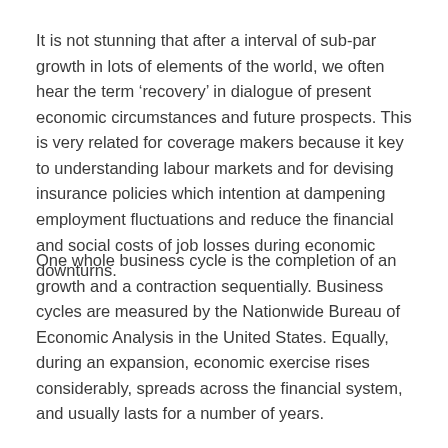It is not stunning that after a interval of sub-par growth in lots of elements of the world, we often hear the term ‘recovery’ in dialogue of present economic circumstances and future prospects. This is very related for coverage makers because it key to understanding labour markets and for devising insurance policies which intention at dampening employment fluctuations and reduce the financial and social costs of job losses during economic downturns.
One whole business cycle is the completion of an growth and a contraction sequentially. Business cycles are measured by the Nationwide Bureau of Economic Analysis in the United States. Equally, during an expansion, economic exercise rises considerably, spreads across the financial system, and usually lasts for a number of years.